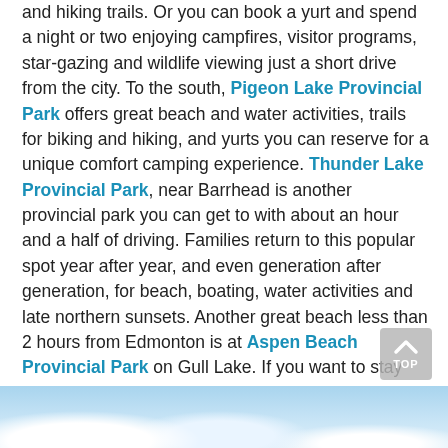and hiking trails. Or you can book a yurt and spend a night or two enjoying campfires, visitor programs, star-gazing and wildlife viewing just a short drive from the city. To the south, Pigeon Lake Provincial Park offers great beach and water activities, trails for biking and hiking, and yurts you can reserve for a unique comfort camping experience. Thunder Lake Provincial Park, near Barrhead is another provincial park you can get to with about an hour and a half of driving. Families return to this popular spot year after year, and even generation after generation, for beach, boating, water activities and late northern sunsets. Another great beach less than 2 hours from Edmonton is at Aspen Beach Provincial Park on Gull Lake. If you want to stay and play, a large campground provides both basic camping as well as RV camping with hookups. All of these campgrounds take reservations at Reserve.AlbertaParks.ca.
[Figure (photo): Photo strip of sky with clouds visible at the bottom of the page]